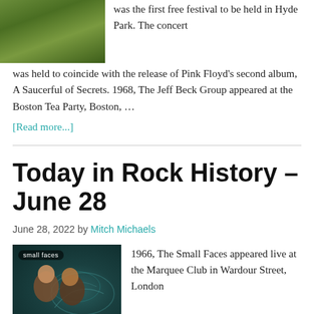[Figure (photo): Green outdoor/nature photo, top left of page]
was the first free festival to be held in Hyde Park. The concert was held to coincide with the release of Pink Floyd's second album, A Saucerful of Secrets. 1968, The Jeff Beck Group appeared at the Boston Tea Party, Boston, …
[Read more...]
Today in Rock History – June 28
June 28, 2022 by Mitch Michaels
[Figure (photo): Small Faces album cover photo with band members and decorative swirl design]
1966, The Small Faces appeared live at the Marquee Club in Wardour Street, London